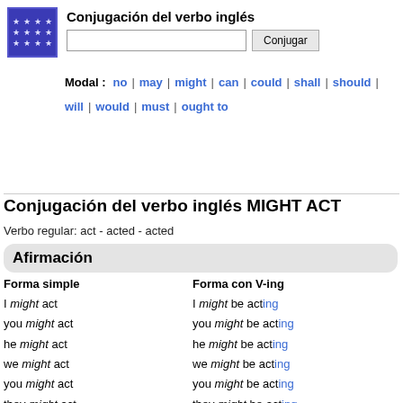[Figure (logo): Blue square logo with white stars arranged in a 4x3 grid]
Conjugación del verbo inglés
Modal : no | may | might | can | could | shall | should | will | would | must | ought to
Conjugación del verbo inglés MIGHT ACT
Verbo regular: act - acted - acted
Afirmación
Forma simple
Forma con V-ing
I might act
you might act
he might act
we might act
you might act
they might act
I might be acting
you might be acting
he might be acting
we might be acting
you might be acting
they might be acting